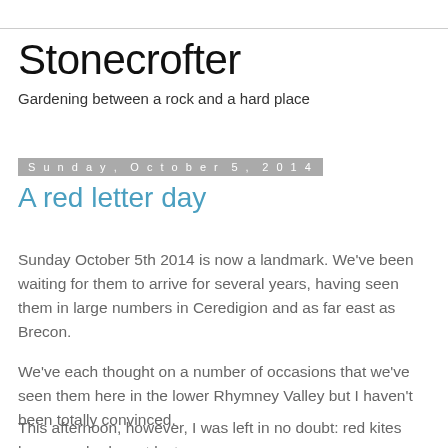Stonecrofter
Gardening between a rock and a hard place
Sunday, October 5, 2014
A red letter day
Sunday October 5th 2014 is now a landmark. We've been waiting for them to arrive for several years, having seen them in large numbers in Ceredigion and as far east as Brecon.
We've each thought on a number of occasions that we've seen them here in the lower Rhymney Valley but I haven't been totally convinced.
This afternoon, however, I was left in no doubt: red kites have reached us at last.